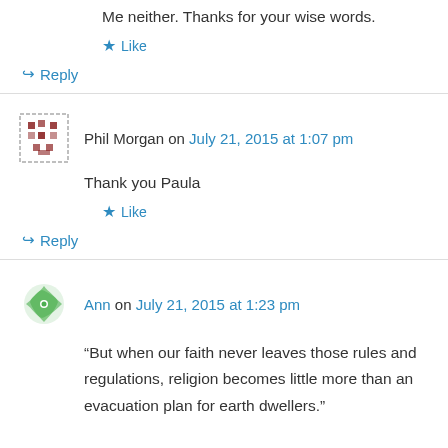Me neither. Thanks for your wise words.
★ Like
↪ Reply
Phil Morgan on July 21, 2015 at 1:07 pm
Thank you Paula
★ Like
↪ Reply
Ann on July 21, 2015 at 1:23 pm
“But when our faith never leaves those rules and regulations, religion becomes little more than an evacuation plan for earth dwellers.”